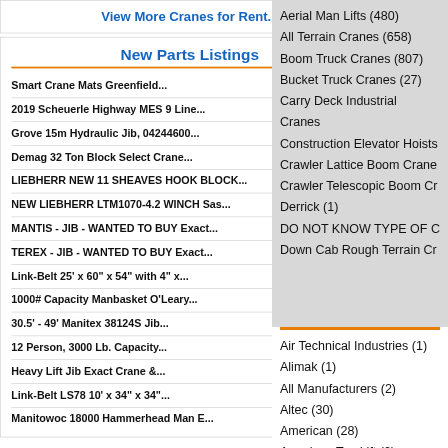View More Cranes for Rent...
New Parts Listings
Smart Crane Mats Greenfield...
2019 Scheuerle Highway MES 9 Line...
Grove 15m Hydraulic Jib, 04244600...
Demag 32 Ton Block Select Crane...
LIEBHERR NEW 11 SHEAVES HOOK BLOCK...
NEW LIEBHERR LTM1070-4.2 WINCH Sas...
MANTIS - JIB - WANTED TO BUY Exact...
TEREX - JIB - WANTED TO BUY Exact...
Link-Belt 25' x 60" x 54" with 4" x...
1000# Capacity Manbasket O'Leary...
30.5' - 49' Manitex 38124S Jib...
12 Person, 3000 Lb. Capacity...
Heavy Lift Jib Exact Crane &...
Link-Belt LS78 10' x 34" x 34"...
Manitowoc 18000 Hammerhead...
Aerial Man Lifts (480)
All Terrain Cranes (658)
Boom Truck Cranes (807)
Bucket Truck Cranes (27)
Carry Deck Industrial Cranes
Construction Elevator Hoists
Crawler Lattice Boom Crane
Crawler Telescopic Boom Cr
Derrick (1)
DO NOT KNOW TYPE OF C
Down Cab Rough Terrain Cr
Air Technical Industries (1)
Alimak (1)
All Manufacturers (2)
Altec (30)
American (28)
American Top Lift (2)
Ascom (1)
ATN (4)
Auto Crane (3)
Badger (1)